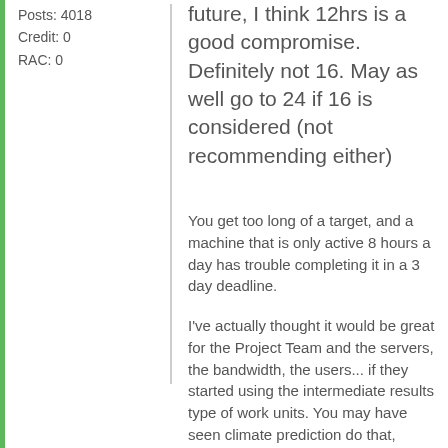Posts: 4018
Credit: 0
RAC: 0
future, I think 12hrs is a good compromise. Definitely not 16. May as well go to 24 if 16 is considered (not recommending either)
You get too long of a target, and a machine that is only active 8 hours a day has trouble completing it in a 3 day deadline.
I've actually thought it would be great for the Project Team and the servers, the bandwidth, the users... if they started using the intermediate results type of work units. You may have seen climate prediction do that, where they had models that took several weeks to run. But every day or two, each WU